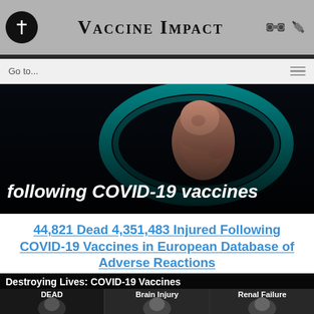Vaccine Impact
Go to...
[Figure (photo): Medical illustration of a fetus in the womb with teal/dark background, with bold italic white text overlay reading 'following COVID-19 vaccines']
44,821 Dead 4,351,483 Injured Following COVID-19 Vaccines in European Database of Adverse Reactions
[Figure (photo): Dark promotional banner reading 'Destroying Lives: COVID-19 Vaccines' with three sub-sections labeled DEAD, Brain Injury, and Renal Failure with portrait photos below]